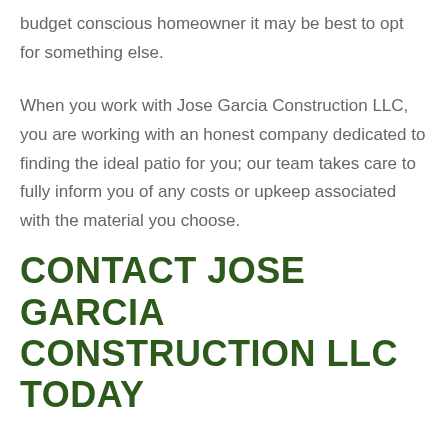budget conscious homeowner it may be best to opt for something else.
When you work with Jose Garcia Construction LLC, you are working with an honest company dedicated to finding the ideal patio for you; our team takes care to fully inform you of any costs or upkeep associated with the material you choose.
CONTACT JOSE GARCIA CONSTRUCTION LLC TODAY